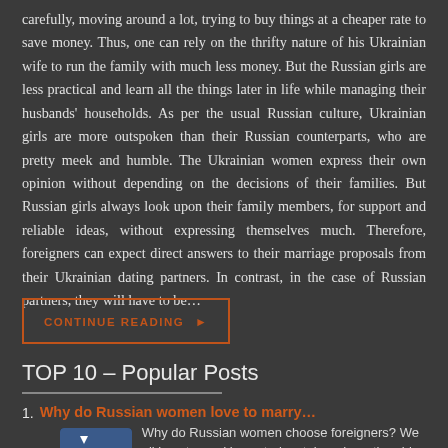carefully, moving around a lot, trying to buy things at a cheaper rate to save money. Thus, one can rely on the thrifty nature of his Ukrainian wife to run the family with much less money. But the Russian girls are less practical and learn all the things later in life while managing their husbands' households. As per the usual Russian culture, Ukrainian girls are more outspoken than their Russian counterparts, who are pretty meek and humble. The Ukrainian women express their own opinion without depending on the decisions of their families. But Russian girls always look upon their family members, for support and reliable ideas, without expressing themselves much. Therefore, foreigners can expect direct answers to their marriage proposals from their Ukrainian dating partners. In contrast, in the case of Russian partners, they will have to be…
CONTINUE READING ▶
TOP 10 – Popular Posts
Why do Russian women love to marry…
Why do Russian women choose foreigners? We all love to read love stories, tales where the girl…